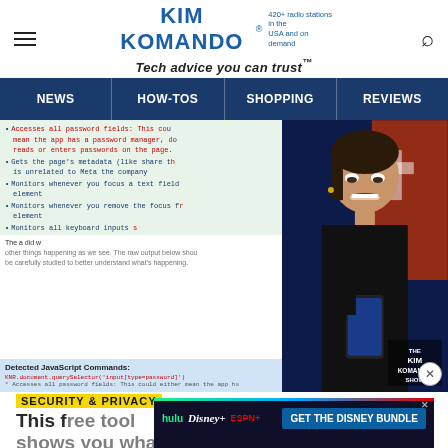KIM KOMANDO® 420+ radio stations in the USA and on demand — Tech advice you can trust™
NEWS | HOW-TOS | SHOPPING | REVIEWS
[Figure (screenshot): Screenshot of a browser extension analysis showing bullet list items about JavaScript commands: Accesses all password fields, Gets the page's metadata, Monitors whenever you focus a text field element, Monitors whenever you remove the focus from element, Monitors all keyboard inputs. Below the list is a detected JavaScript commands section with code. Right side shows a woman making a disgusted face while looking at her phone, with The Kim Komando Show badge.]
SECURITY & PRIVACY
This free tool shows you what Big Tech knows
[Figure (screenshot): Disney Bundle advertisement showing Hulu, Disney+, ESPN+ logos with GET THE DISNEY BUNDLE call to action]